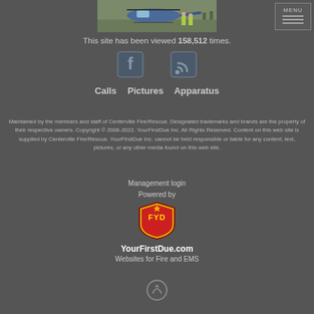[Figure (photo): Helicopter on grass field with firefighters in background]
This site has been viewed 158,512 times.
[Figure (other): Facebook icon and RSS feed icon]
Calls   Pictures   Apparatus
Maintained by the members and staff of Centerville Fire/Rescue. Designated trademarks and brands are the property of their respective owners. Copyright © 2006-2022. YourFirstDue Inc. All Rights Reserved. Content on this web site is supplied by Centerville Fire/Rescue. YourFirstDue Inc. cannot be held responsible or liable for any content, text, pictures, or any other media found on this web site.
Management login
Powered by
[Figure (logo): YourFirstDue shield/crest logo with FYD letters]
YourFirstDue.com
Websites for Fire and EMS
[Figure (other): Back to top circular arrow icon]